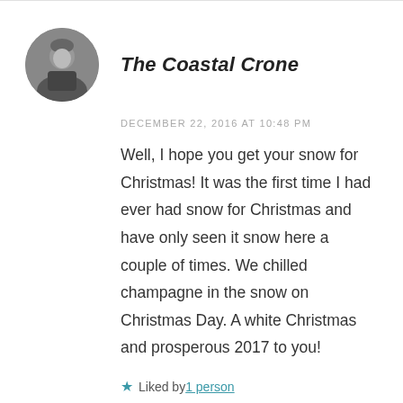The Coastal Crone
DECEMBER 22, 2016 AT 10:48 PM
Well, I hope you get your snow for Christmas! It was the first time I had ever had snow for Christmas and have only seen it snow here a couple of times. We chilled champagne in the snow on Christmas Day. A white Christmas and prosperous 2017 to you!
Liked by 1 person
REPLY